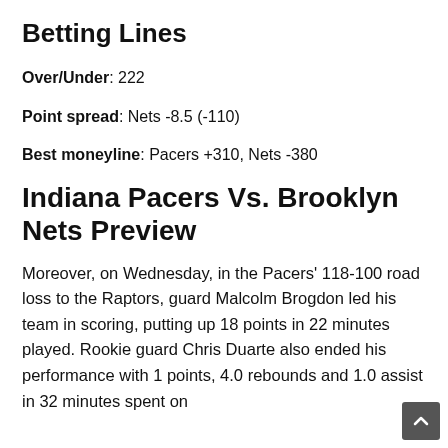Betting Lines
Over/Under: 222
Point spread: Nets -8.5 (-110)
Best moneyline: Pacers +310, Nets -380
Indiana Pacers Vs. Brooklyn Nets Preview
Moreover, on Wednesday, in the Pacers' 118-100 road loss to the Raptors, guard Malcolm Brogdon led his team in scoring, putting up 18 points in 22 minutes played. Rookie guard Chris Duarte also ended his performance with 1 points, 4.0 rebounds and 1.0 assist in 32 minutes spent on